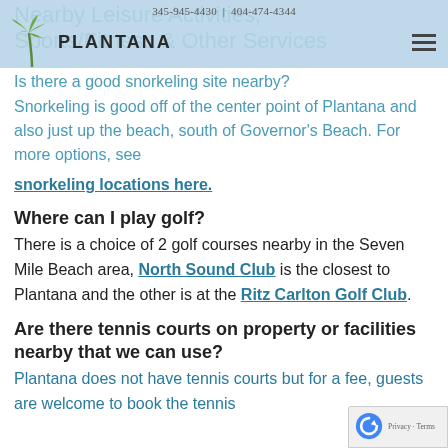Nearby Leisure Activities, Sports/Fitness & Other Services | 345-945-4430 | 404-474-4344
[Figure (logo): Plantana logo with palm tree graphic and text PLANTANA]
Is there a good snorkeling site nearby?
Snorkeling is good off of the center point of Plantana and also just up the beach, south of Governor's Beach. For more options, see snorkeling locations here.
Where can I play golf?
There is a choice of 2 golf courses nearby in the Seven Mile Beach area, North Sound Club is the closest to Plantana and the other is at the Ritz Carlton Golf Club.
Are there tennis courts on property or facilities nearby that we can use?
Plantana does not have tennis courts but for a fee, guests are welcome to book the tennis courts at Governor's Beach also nearby...